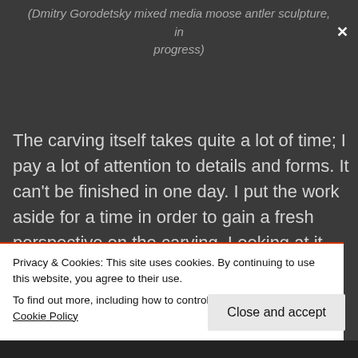(Dmitry Gorodetsky mixed media moose antler sculpture, in progress)
The carving itself takes quite a lot of time; I pay a lot of attention to details and forms. It can't be finished in one day. I put the work aside for a time in order to gain a fresh perspective on the carving. Looking at it later, with a fresh eye and under
Privacy & Cookies: This site uses cookies. By continuing to use this website, you agree to their use.
To find out more, including how to control cookies, see here: Cookie Policy
Close and accept